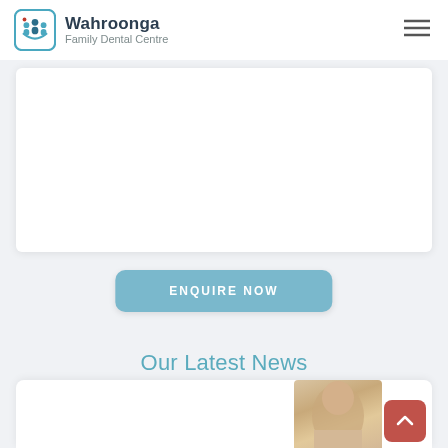Wahroonga Family Dental Centre
[Figure (logo): Wahroonga Family Dental Centre logo with icon and text]
[Figure (other): White content card area]
ENQUIRE NOW
Our Latest News
[Figure (photo): Partial photo of a blonde person at bottom of page]